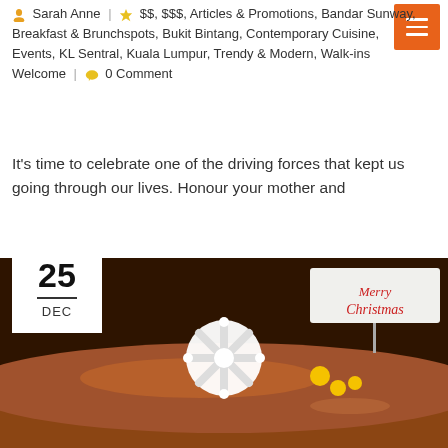Sarah Anne | $$, $$$, Articles & Promotions, Bandar Sunway, Breakfast & Brunchspots, Bukit Bintang, Contemporary Cuisine, Events, KL Sentral, Kuala Lumpur, Trendy & Modern, Walk-ins Welcome | 0 Comment
It's time to celebrate one of the driving forces that kept us going through our lives. Honour your mother and
Read More
[Figure (photo): Photo of a Christmas yule log cake decorated with a white snowflake, small yellow decorations, and a 'Merry Christmas' sign. Date box overlay shows '25 DEC'.]